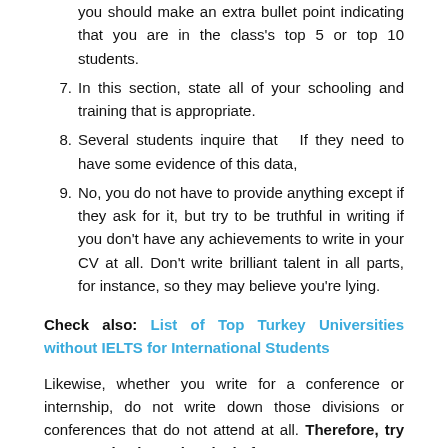you should make an extra bullet point indicating that you are in the class's top 5 or top 10 students.
7. In this section, state all of your schooling and training that is appropriate.
8. Several students inquire that  If they need to have some evidence of this data,
9. No, you do not have to provide anything except if they ask for it, but try to be truthful in writing if you don't have any achievements to write in your CV at all. Don't write brilliant talent in all parts, for instance, so they may believe you're lying.
Check also: List of Top Turkey Universities without IELTS for International Students
Likewise, whether you write for a conference or internship, do not write down those divisions or conferences that do not attend at all. Therefore, try not to make them skeptical of